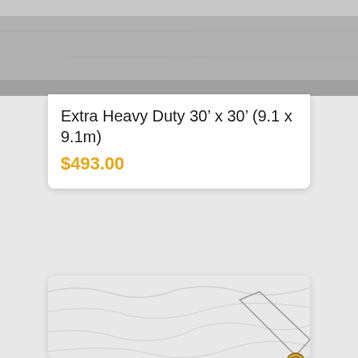[Figure (photo): Top portion of a grey/silver tarp product photo, cropped at top of page]
Extra Heavy Duty 30’ x 30’ (9.1 x 9.1m)
$493.00
[Figure (photo): Close-up photo of a white and dark green tarp with brass grommets, showing folded layers of the tarp material]